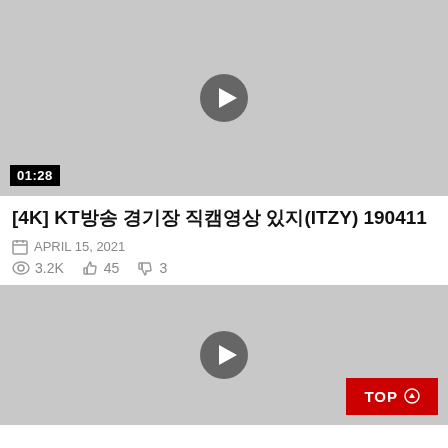[Figure (screenshot): Video thumbnail with gray background and play button, showing duration badge 01:28]
[4K] KT방송 경기장 직캠영상 있지(ITZY) 190411
APRIL 15, 2021
3.2K   45   3
[Figure (screenshot): Second video thumbnail with gray background and play button, with TOP button overlay]